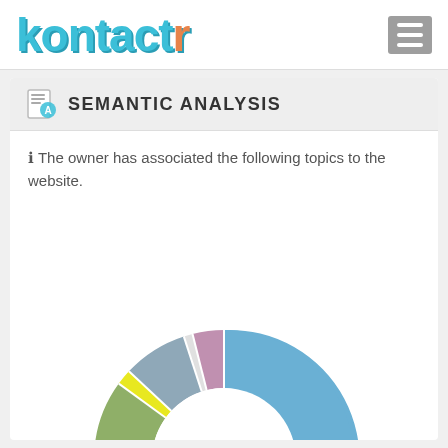kontactr
SEMANTIC ANALYSIS
ℹ The owner has associated the following topics to the website.
[Figure (donut-chart): Donut chart showing topic distribution: large blue segment (~40%), large orange/gold segment (~35%), green segment (~10%), gray-blue segment (~8%), pink/mauve segment (~4%), yellow segment (~2%), white small segment (~1%)]